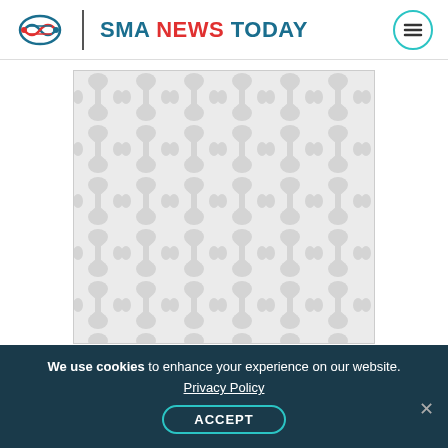SMA NEWS TODAY
[Figure (illustration): Decorative DNA/molecular pattern placeholder image with repeating hourglass and circle shapes in light gray on white background]
Additionally, I have only two copies of the SMN2
We use cookies to enhance your experience on our website. Privacy Policy ACCEPT